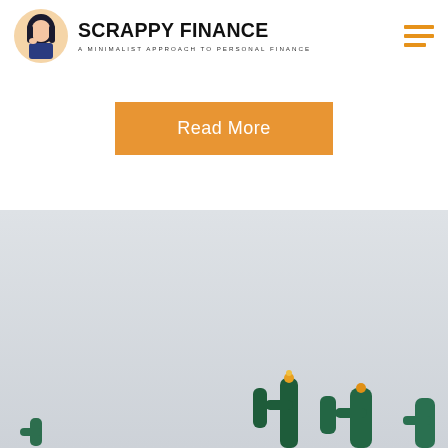SCRAPPY FINANCE — A MINIMALIST APPROACH TO PERSONAL FINANCE
Read More
[Figure (photo): Light grey-blue background with green cactus plants visible at the bottom of the image]